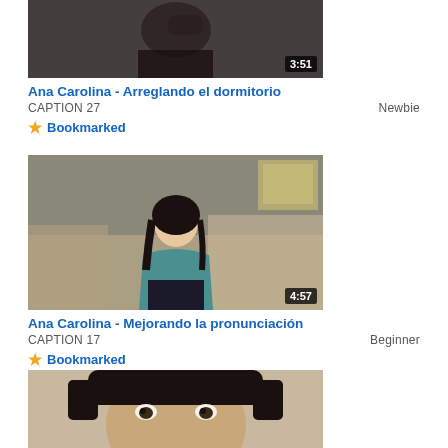[Figure (screenshot): Video thumbnail showing person with dark clothing, duration badge 3:51]
Ana Carolina - Arreglando el dormitorio
CAPTION 27    Newbie
Bookmarked
[Figure (screenshot): Video thumbnail showing woman in teal top sitting on couch, duration badge 4:57]
Ana Carolina - Mejorando la pronunciación
CAPTION 17    Beginner
Bookmarked
[Figure (screenshot): Video thumbnail showing woman's face close-up]